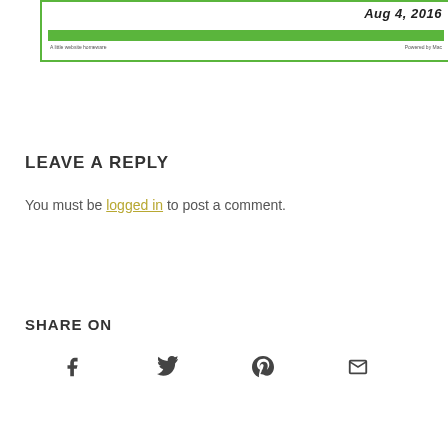[Figure (screenshot): Partial screenshot of a webpage/infographic with green border, showing date 'Aug 4, 2016' in bold italic, a green horizontal bar, and small text below it.]
LEAVE A REPLY
You must be logged in to post a comment.
SHARE ON
[Figure (infographic): Social sharing icons row: Facebook (f), Twitter (bird), Pinterest (P), Email (envelope)]